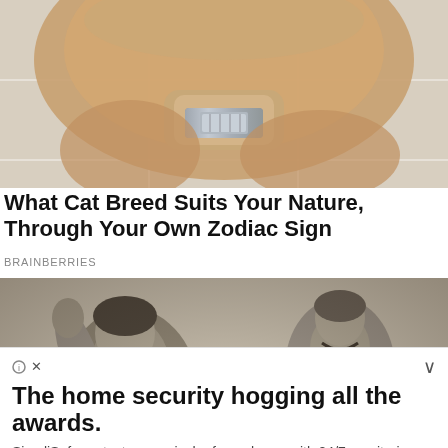[Figure (photo): Close-up photo of a cat's paw wearing a silver watch/bracelet on a white tiled floor]
What Cat Breed Suits Your Nature, Through Your Own Zodiac Sign
BRAINBERRIES
[Figure (photo): Vintage black-and-white photo of women, one raising her fist, another wearing a necklace]
The home security hogging all the awards.
SimpliSafe protects every inch of your home with 24/7 monitoring and no contract. Winner of CNET Editors' Choice (3/2018). Prote...
continue